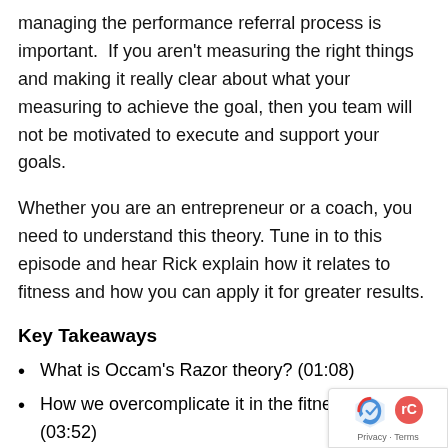managing the performance referral process is important.  If you aren't measuring the right things and making it really clear about what your measuring to achieve the goal, then you team will not be motivated to execute and support your goals.
Whether you are an entrepreneur or a coach, you need to understand this theory. Tune in to this episode and hear Rick explain how it relates to fitness and how you can apply it for greater results.
Key Takeaways
What is Occam's Razor theory? (01:08)
How we overcomplicate it in the fitness space (03:52)